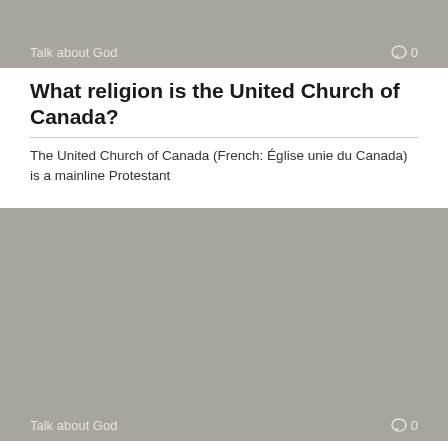[Figure (other): Gray banner image with 'Talk about God' label and comment icon showing 0 comments]
What religion is the United Church of Canada?
The United Church of Canada (French: Église unie du Canada) is a mainline Protestant
[Figure (other): Gray banner image with 'Talk about God' label and comment icon showing 0 comments]
Where is Eastern Christianity?
Eastern Christianity comprises Christian traditions and church families that originally developed during classical and